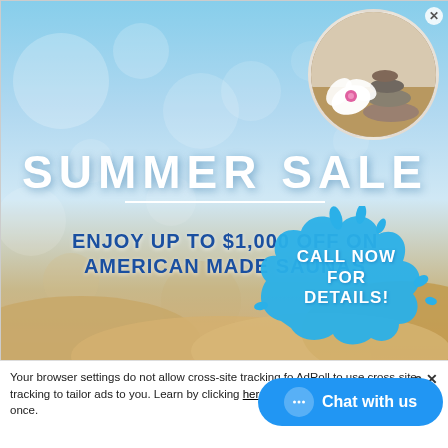[Figure (illustration): Summer sale advertisement banner with blue bokeh sky background, sandy beach bottom, circular photo of spa stones and white orchid flower in top right, blue water splash graphic in bottom right with 'CALL NOW FOR DETAILS!' text, large white 'SUMMER SALE' heading with divider line, and blue bold text 'ENJOY UP TO $1,000 OFF ON AMERICAN MADE SAUNAS'. Close button in top right corner.]
Your browser settings do not allow cross-site tracking for AdRoll to use cross-site tracking to tailor ads to you. Learn more about cross-site tracking by clicking here. This message only appears once.